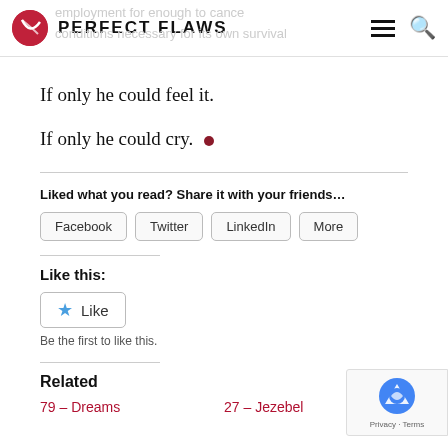PERFECT FLAWS
If only he could feel it.
If only he could cry. •
Liked what you read? Share it with your friends…
Facebook  Twitter  LinkedIn  More
Like this:
Like
Be the first to like this.
Related
79 – Dreams   27 – Jezebel